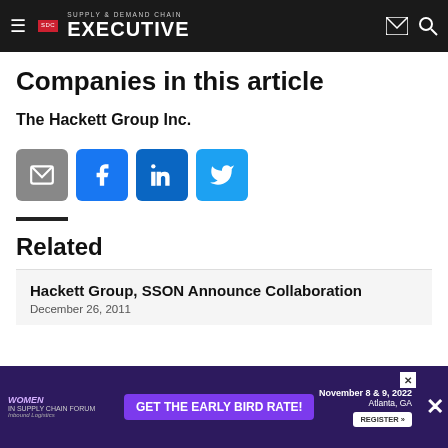Supply & Demand Chain Executive
Companies in this article
The Hackett Group Inc.
[Figure (other): Social share buttons: email (gray), Facebook (blue), LinkedIn (blue), Twitter (blue)]
Related
Hackett Group, SSON Announce Collaboration
December 26, 2011
[Figure (infographic): Advertisement banner for Women in Supply Chain Forum, November 8 & 9, 2022, Atlanta, GA. Get the early bird rate! Register button.]